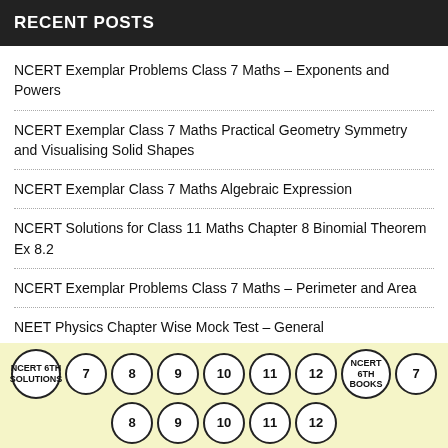RECENT POSTS
NCERT Exemplar Problems Class 7 Maths – Exponents and Powers
NCERT Exemplar Class 7 Maths Practical Geometry Symmetry and Visualising Solid Shapes
NCERT Exemplar Class 7 Maths Algebraic Expression
NCERT Solutions for Class 11 Maths Chapter 8 Binomial Theorem Ex 8.2
NCERT Exemplar Problems Class 7 Maths – Perimeter and Area
NEET Physics Chapter Wise Mock Test – General
[Figure (infographic): Navigation bar with circular buttons: NCERT 6TH SOLUTIONS, 7, 8, 9, 10, 11, 12, NCERT 6TH BOOKS, 7, and a second row: 8, 9, 10, 11, 12]